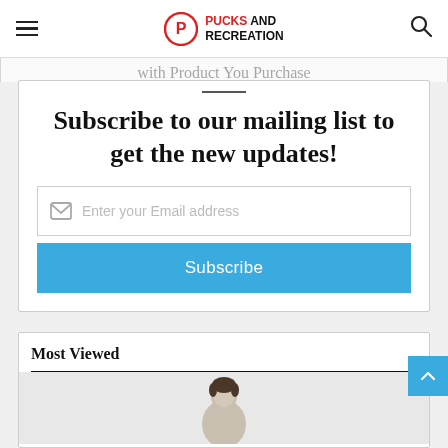Pucks And Recreation
with Product You Purchase
Subscribe to our mailing list to get the new updates!
Enter your Email address
Subscribe
Most Viewed
[Figure (photo): Person shown from shoulders up, partially visible at bottom of page]